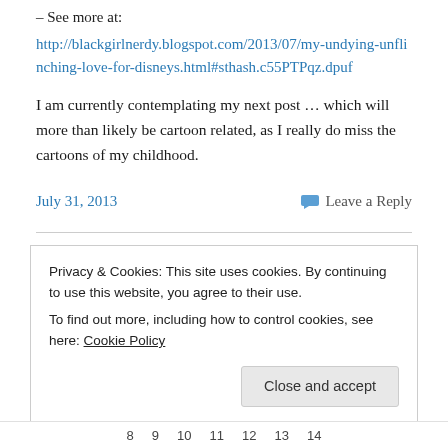– See more at:
http://blackgirlnerdy.blogspot.com/2013/07/my-undying-unflinching-love-for-disneys.html#sthash.c55PTPqz.dpuf
I am currently contemplating my next post … which will more than likely be cartoon related, as I really do miss the cartoons of my childhood.
July 31, 2013
Leave a Reply
Privacy & Cookies: This site uses cookies. By continuing to use this website, you agree to their use.
To find out more, including how to control cookies, see here: Cookie Policy
Close and accept
8  9  10  11  12  13  14